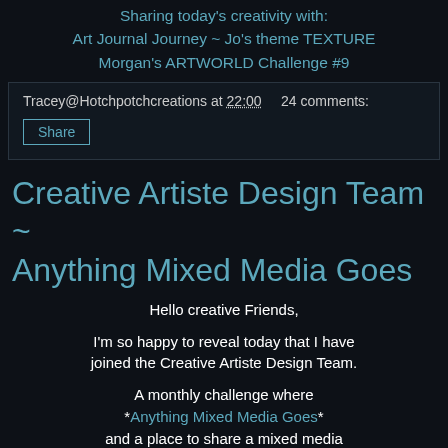Sharing today's creativity with:
Art Journal Journey ~ Jo's theme TEXTURE
Morgan's ARTWORLD Challenge #9
Tracey@Hotchpotchcreations at 22:00    24 comments:
Share
Creative Artiste Design Team ~ Anything Mixed Media Goes
Hello creative Friends,
I'm so happy to reveal today that I have joined the Creative Artiste Design Team.
A monthly challenge where *Anything Mixed Media Goes* and a place to share a mixed media creation along side the Creative Artiste Team.